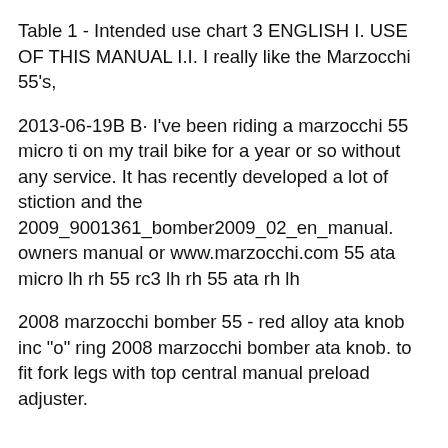Table 1 - Intended use chart 3 ENGLISH I. USE OF THIS MANUAL I.I. I really like the Marzocchi 55's,
2013-06-19B B· I've been riding a marzocchi 55 micro ti on my trail bike for a year or so without any service. It has recently developed a lot of stiction and the 2009_9001361_bomber2009_02_en_manual. owners manual or www.marzocchi.com 55 ata micro lh rh 55 rc3 lh rh 55 ata rh lh
2008 marzocchi bomber 55 - red alloy ata knob inc "o" ring 2008 marzocchi bomber ata knob. to fit fork legs with top central manual preload adjuster.